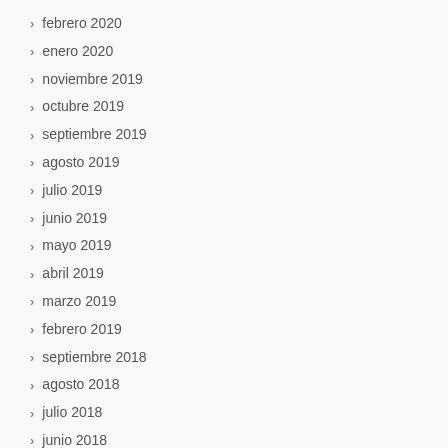febrero 2020
enero 2020
noviembre 2019
octubre 2019
septiembre 2019
agosto 2019
julio 2019
junio 2019
mayo 2019
abril 2019
marzo 2019
febrero 2019
septiembre 2018
agosto 2018
julio 2018
junio 2018